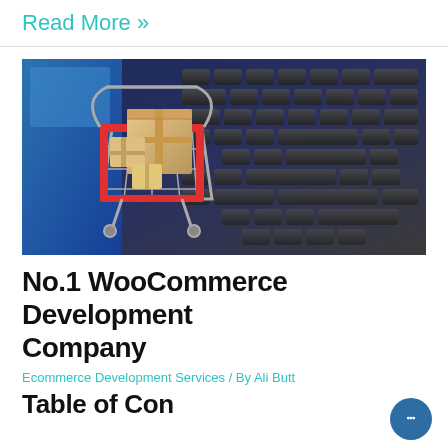Read More »
[Figure (photo): A shopping cart filled with cardboard boxes sitting on a laptop keyboard, representing ecommerce and online shopping.]
No.1 WooCommerce Development Company
Ecommerce Development Services / By Ali Butt
Table of Contents